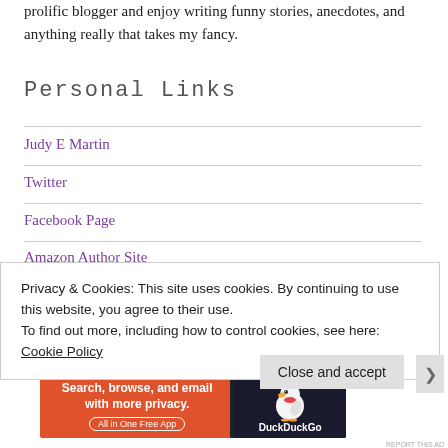prolific blogger and enjoy writing funny stories, anecdotes, and anything really that takes my fancy.
Personal Links
Judy E Martin
Twitter
Facebook Page
Amazon Author Site
Privacy & Cookies: This site uses cookies. By continuing to use this website, you agree to their use.
To find out more, including how to control cookies, see here: Cookie Policy
Close and accept
[Figure (infographic): DuckDuckGo advertisement banner: orange and dark background with text 'Search, browse, and email with more privacy. All in One Free App' and DuckDuckGo duck logo]
Advertisements